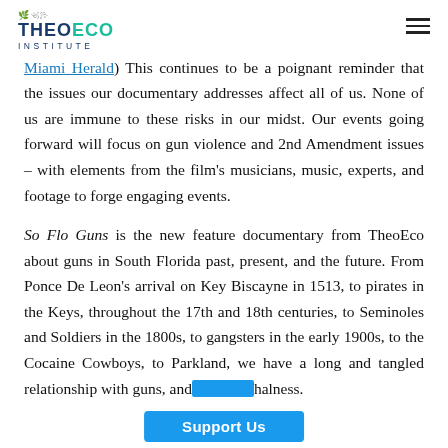TheoEco Institute logo and hamburger menu
Miami Herald) This continues to be a poignant reminder that the issues our documentary addresses affect all of us. None of us are immune to these risks in our midst. Our events going forward will focus on gun violence and 2nd Amendment issues – with elements from the film's musicians, music, experts, and footage to forge engaging events.
So Flo Guns is the new feature documentary from TheoEco about guns in South Florida past, present, and the future. From Ponce De Leon's arrival on Key Biscayne in 1513, to pirates in the Keys, throughout the 17th and 18th centuries, to Seminoles and Soldiers in the 1800s, to gangsters in the early 1900s, to the Cocaine Cowboys, to Parkland, we have a long and tangled relationship with guns, and... halness.
Support Us